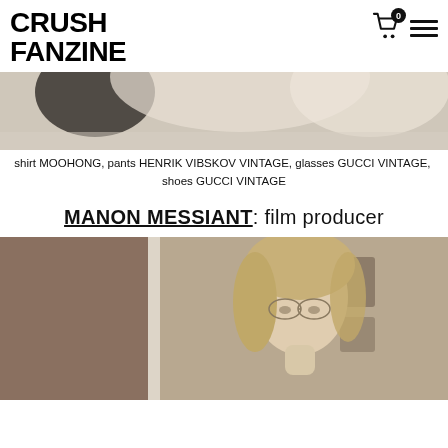CRUSH FANZINE
[Figure (photo): Close-up photo of a person wearing a white knit sweater, holding a dark object, with marble-like surface visible]
shirt MOOHONG, pants HENRIK VIBSKOV VINTAGE, glasses GUCCI VINTAGE,  shoes GUCCI VINTAGE
MANON MESSIANT: film producer
[Figure (photo): Portrait photo of a woman with blonde hair wearing round glasses, standing in front of a wall, looking at camera]